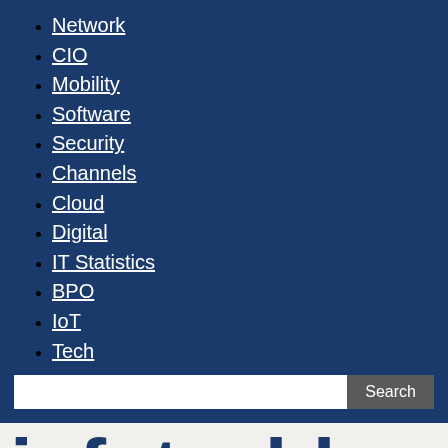Network
CIO
Mobility
Software
Security
Channels
Cloud
Digital
IT Statistics
BPO
IoT
Tech
infotechlead
InfotechLead